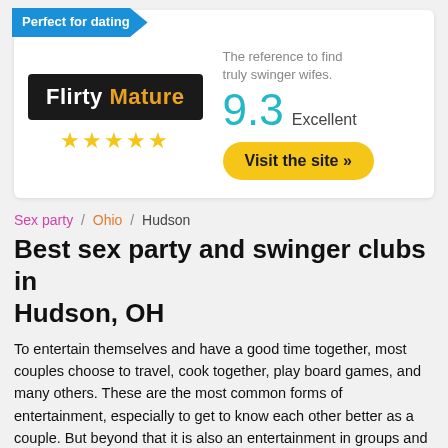[Figure (other): Advertisement card for Flirty Mature with 'Perfect for dating' banner, logo, 5 stars, score 9.3 Excellent, tagline, and Visit the site button]
Sex party / Ohio / Hudson
Best sex party and swinger clubs in Hudson, OH
To entertain themselves and have a good time together, most couples choose to travel, cook together, play board games, and many others. These are the most common forms of entertainment, especially to get to know each other better as a couple. But beyond that it is also an entertainment in groups and...